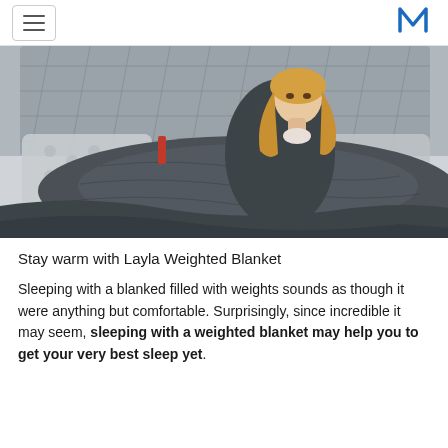hamburger menu icon | M logo
[Figure (photo): Woman with blonde hair sitting on a bed wrapped in a dark gray weighted blanket, with a tufted gray headboard and decorative pillows behind her.]
Stay warm with Layla Weighted Blanket
Sleeping with a blanked filled with weights sounds as though it were anything but comfortable. Surprisingly, since incredible it may seem, sleeping with a weighted blanket may help you to get your very best sleep yet.